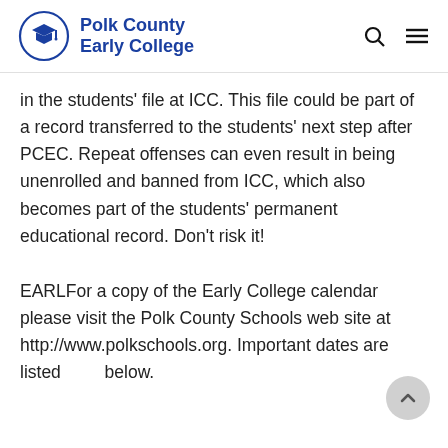Polk County Early College
in the students' file at ICC. This file could be part of a record transferred to the students' next step after PCEC. Repeat offenses can even result in being unenrolled and banned from ICC, which also becomes part of the students' permanent educational record. Don't risk it!
EARLFor a copy of the Early College calendar please visit the Polk County Schools web site at  http://www.polkschools.org. Important dates are listed        below.